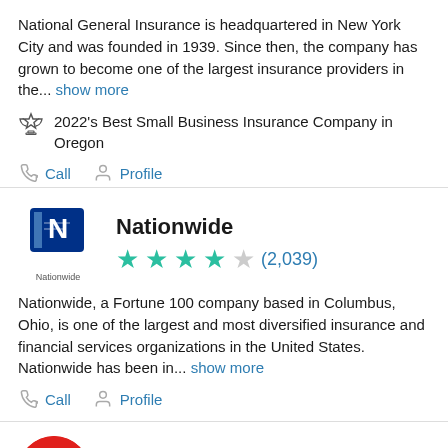National General Insurance is headquartered in New York City and was founded in 1939. Since then, the company has grown to become one of the largest insurance providers in the... show more
2022's Best Small Business Insurance Company in Oregon
Call  Profile
Nationwide
★★★★☆ (2,039)
Nationwide, a Fortune 100 company based in Columbus, Ohio, is one of the largest and most diversified insurance and financial services organizations in the United States. Nationwide has been in... show more
Call  Profile
State Farm